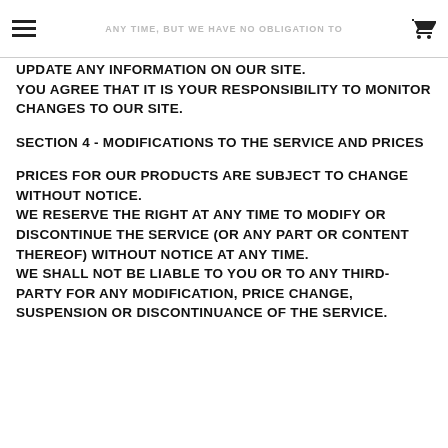ANY TIME, BUT WE HAVE NO OBLIGATION TO
UPDATE ANY INFORMATION ON OUR SITE. YOU AGREE THAT IT IS YOUR RESPONSIBILITY TO MONITOR CHANGES TO OUR SITE.
SECTION 4 - MODIFICATIONS TO THE SERVICE AND PRICES
PRICES FOR OUR PRODUCTS ARE SUBJECT TO CHANGE WITHOUT NOTICE. WE RESERVE THE RIGHT AT ANY TIME TO MODIFY OR DISCONTINUE THE SERVICE (OR ANY PART OR CONTENT THEREOF) WITHOUT NOTICE AT ANY TIME. WE SHALL NOT BE LIABLE TO YOU OR TO ANY THIRD-PARTY FOR ANY MODIFICATION, PRICE CHANGE, SUSPENSION OR DISCONTINUANCE OF THE SERVICE.